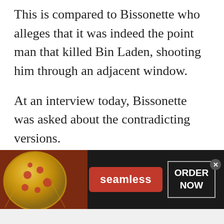This is compared to Bissonette who alleges that it was indeed the point man that killed Bin Laden, shooting him through an adjacent window.
At an interview today, Bissonette was asked about the contradicting versions.
“Two different people telling two different stories for two different reasons,” Bissonette said, but elaborated no
[Figure (screenshot): Seamless food delivery advertisement banner with pizza image on left, red Seamless button in center, and ORDER NOW button on right with close X button]